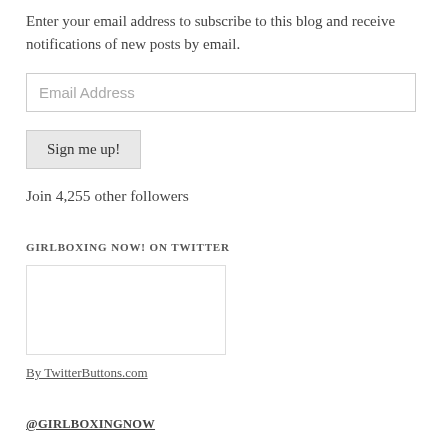Enter your email address to subscribe to this blog and receive notifications of new posts by email.
Email Address
Sign me up!
Join 4,255 other followers
GIRLBOXING NOW! ON TWITTER
[Figure (other): Twitter button widget box, empty white rectangle with border]
By TwitterButtons.com
@GIRLBOXINGNOW